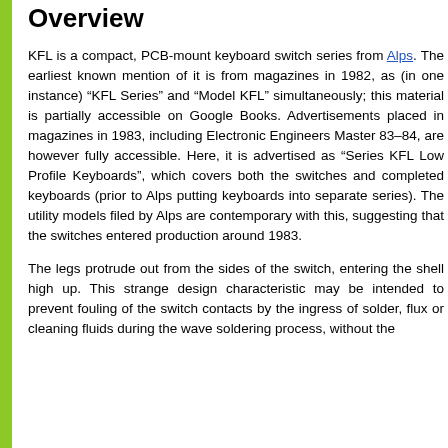Overview
KFL is a compact, PCB-mount keyboard switch series from Alps. The earliest known mention of it is from magazines in 1982, as (in one instance) “KFL Series” and “Model KFL” simultaneously; this material is partially accessible on Google Books. Advertisements placed in magazines in 1983, including Electronic Engineers Master 83–84, are however fully accessible. Here, it is advertised as “Series KFL Low Profile Keyboards”, which covers both the switches and completed keyboards (prior to Alps putting keyboards into separate series). The utility models filed by Alps are contemporary with this, suggesting that the switches entered production around 1983.
The legs protrude out from the sides of the switch, entering the shell high up. This strange design characteristic may be intended to prevent fouling of the switch contacts by the ingress of solder, flux or cleaning fluids during the wave soldering process, without the